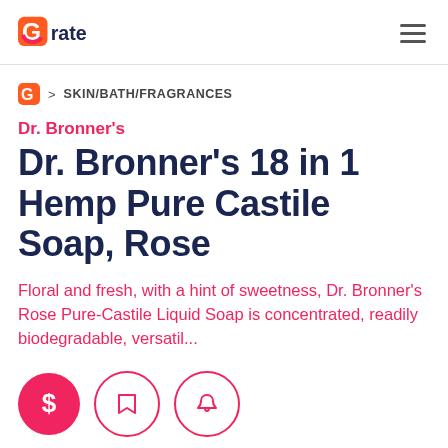Grate (logo)
SKIN/BATH/FRAGRANCES
Dr. Bronner's
Dr. Bronner's 18 in 1 Hemp Pure Castile Soap, Rose
Floral and fresh, with a hint of sweetness, Dr. Bronner's Rose Pure-Castile Liquid Soap is concentrated, readily biodegradable, versatil...
[Figure (other): Three circular action buttons: a filled red circle with dollar sign, an outlined circle with bookmark icon, and an outlined circle with bell icon]